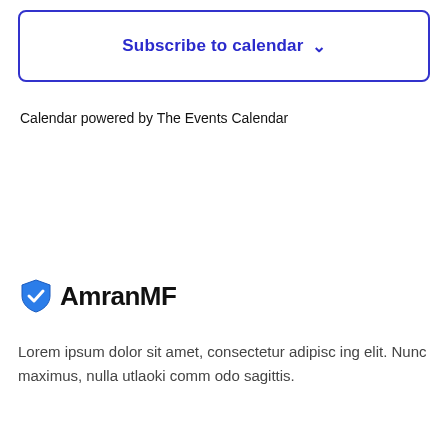[Figure (other): Subscribe to calendar button with dropdown chevron, blue outlined rounded rectangle]
Calendar powered by The Events Calendar
[Figure (logo): AmranMF logo: blue shield/checkmark icon followed by bold text 'AmranMF']
Lorem ipsum dolor sit amet, consectetur adipisc ing elit. Nunc maximus, nulla utlaoki comm odo sagittis.